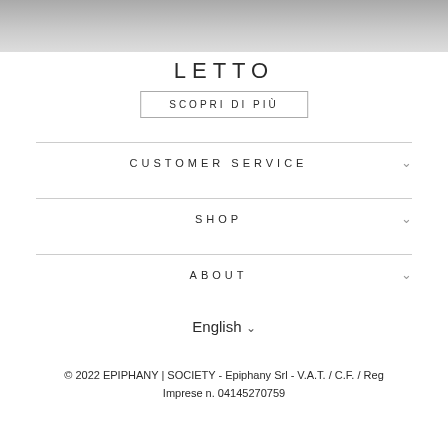[Figure (photo): Partial view of product photo at top of page, grayscale/muted tones]
LETTO
SCOPRI DI PIÙ
CUSTOMER SERVICE
SHOP
ABOUT
English ∨
© 2022 EPIPHANY | SOCIETY - Epiphany Srl - V.A.T. / C.F. / Reg Imprese n. 04145270759